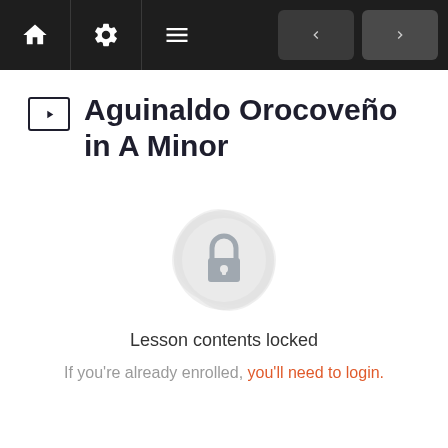Navigation bar with home, settings, menu, back and forward buttons
Aguinaldo Orocoveño in A Minor
[Figure (illustration): A decorative circular badge with a gear/flower border containing a padlock icon in the center, indicating locked content]
Lesson contents locked
If you're already enrolled, you'll need to login.